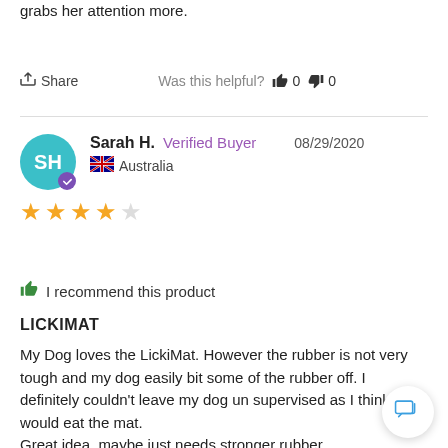grabs her attention more.
Share   Was this helpful?   👍 0   👎 0
Sarah H.  Verified Buyer  08/29/2020  🇦🇺 Australia  ★★★★☆
I recommend this product
LICKIMAT
My Dog loves the LickiMat. However the rubber is not very tough and my dog easily bit some of the rubber off. I definitely couldn't leave my dog un supervised as I think he would eat the mat.
Great idea, maybe just needs stronger rubber